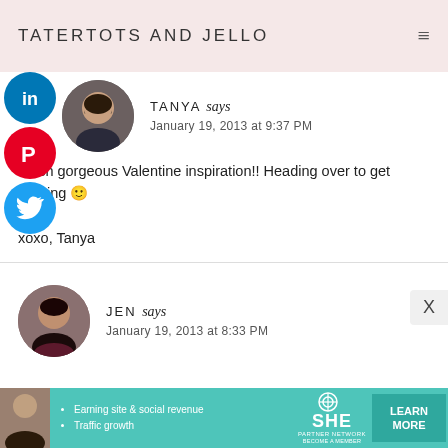TATERTOTS AND JELLO
[Figure (other): Social share buttons: LinkedIn (blue), Pinterest (red), Twitter (blue) circular icons on left side]
[Figure (photo): Avatar photo of Tanya, woman with glasses]
TANYA says
January 19, 2013 at 9:37 PM
much gorgeous Valentine inspiration!! Heading over to get Pinning 🙂

xoxo, Tanya
[Figure (photo): Avatar photo of Jen, dark-haired woman]
JEN says
January 19, 2013 at 8:33 PM
[Figure (infographic): SHE Partner Network ad banner: Earning site & social revenue, Traffic growth, LEARN MORE button]